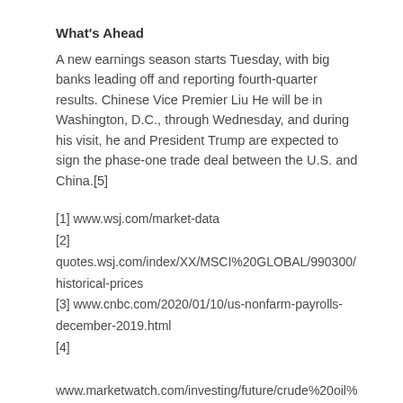What's Ahead
A new earnings season starts Tuesday, with big banks leading off and reporting fourth-quarter results. Chinese Vice Premier Liu He will be in Washington, D.C., through Wednesday, and during his visit, he and President Trump are expected to sign the phase-one trade deal between the U.S. and China.[5]
[1] www.wsj.com/market-data
[2] quotes.wsj.com/index/XX/MSCI%20GLOBAL/990300/historical-prices
[3] www.cnbc.com/2020/01/10/us-nonfarm-payrolls-december-2019.html
[4] www.marketwatch.com/investing/future/crude%20oil%